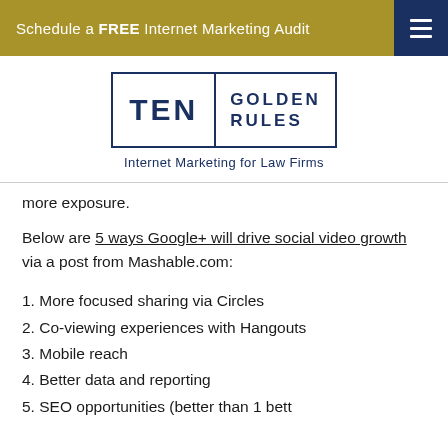Schedule a FREE Internet Marketing Audit
[Figure (logo): Ten Golden Rules - Internet Marketing for Law Firms logo with rectangular border, TEN on left side, GOLDEN RULES on right side, subtitle below]
more exposure.
Below are 5 ways Google+ will drive social video growth via a post from Mashable.com:
1. More focused sharing via Circles
2. Co-viewing experiences with Hangouts
3. Mobile reach
4. Better data and reporting
5. SEO opportunities (bottom text cut off)